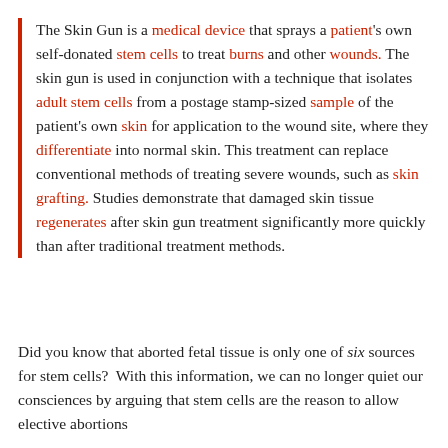The Skin Gun is a medical device that sprays a patient's own self-donated stem cells to treat burns and other wounds. The skin gun is used in conjunction with a technique that isolates adult stem cells from a postage stamp-sized sample of the patient's own skin for application to the wound site, where they differentiate into normal skin. This treatment can replace conventional methods of treating severe wounds, such as skin grafting. Studies demonstrate that damaged skin tissue regenerates after skin gun treatment significantly more quickly than after traditional treatment methods.
Did you know that aborted fetal tissue is only one of six sources for stem cells?  With this information, we can no longer quiet our consciences by arguing that stem cells are the reason to allow elective abortions